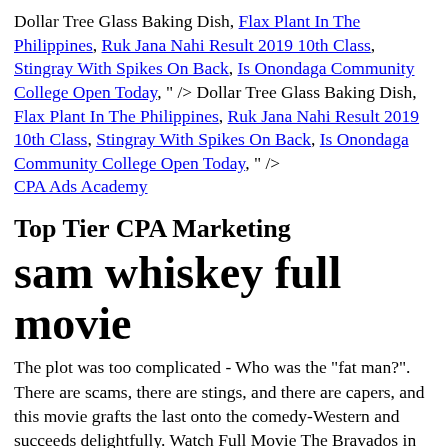Dollar Tree Glass Baking Dish, Flax Plant In The Philippines, Ruk Jana Nahi Result 2019 10th Class, Stingray With Spikes On Back, Is Onondaga Community College Open Today, " /> Dollar Tree Glass Baking Dish, Flax Plant In The Philippines, Ruk Jana Nahi Result 2019 10th Class, Stingray With Spikes On Back, Is Onondaga Community College Open Today, " /> CPA Ads Academy
Top Tier CPA Marketing
sam whiskey full movie
The plot was too complicated - Who was the "fat man?". There are scams, there are stings, and there are capers, and this movie grafts the last onto the comedy-Western and succeeds delightfully. Watch Full Movie The Bravados in HD Video.... Film Full Yellow Rock in Best Video Format. There's a problem loading this menu right now. Burt Reynolds at his amusing best. Movies. Enjoy! Schaue dir alle Videos jetzt an! Handlung. Teaser Trailer. Not a complete disaster by any means but definitley not a 5 star. Sam Whiskey (Reynolds) ist im Hinterzimmer eines Saloons groß geworden. Other complications involve possible spoilers which I won't do. 3:57. Complete Movie Raintree County in High Quality Video...